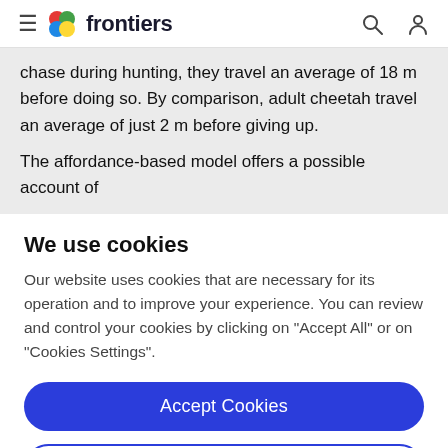frontiers
chase during hunting, they travel an average of 18 m before doing so. By comparison, adult cheetah travel an average of just 2 m before giving up.
The affordance-based model offers a possible account of
We use cookies
Our website uses cookies that are necessary for its operation and to improve your experience. You can review and control your cookies by clicking on "Accept All" or on "Cookies Settings".
Accept Cookies
Cookies Settings